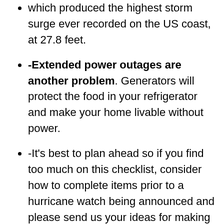which produced the highest storm surge ever recorded on the US coast, at 27.8 feet.
-Extended power outages are another problem. Generators will protect the food in your refrigerator and make your home livable without power.
-It's best to plan ahead so if you find too much on this checklist, consider how to complete items prior to a hurricane watch being announced and please send us your ideas for making this list better.